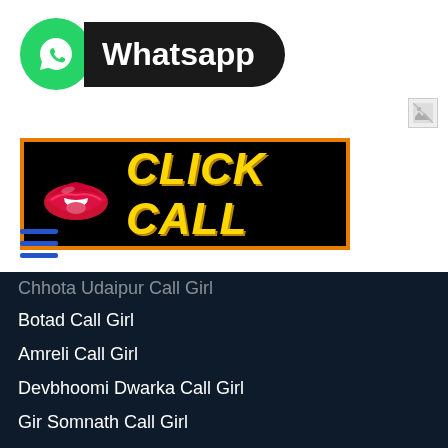[Figure (logo): WhatsApp logo with green circle icon and black pill-shaped background with 'Whatsapp' text in white]
[Figure (other): Broken image placeholder icon]
[Figure (illustration): Black banner with orange border showing red lips illustration and yellow bold italic text 'CLICK CALL']
[Figure (other): Blue hamburger menu icon (three horizontal lines)]
Chhota Udaipur Call Girl (partially cut off)
Botad Call Girl
Amreli Call Girl
Devbhoomi Dwarka Call Girl
Gir Somnath Call Girl
Jamnagar Call Girl
Junagadh Call Girl (partially cut off)